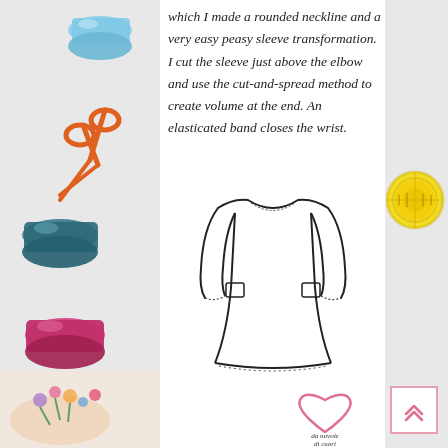which I made a rounded neckline and a very easy peasy sleeve transformation. I cut the sleeve just above the elbow and use the cut-and-spread method to create volume at the end. An elasticated band closes the wrist.
[Figure (illustration): Line drawing / technical flat sketch of a loose-fitting dress with long sleeves gathered at the wrist with an elasticated band, rounded neckline, and A-line skirt with slight curve at hem.]
[Figure (logo): Da Nuvole di Cuori logo with a heart outline above stylized handwritten brand name text 'da nuvole di cuori'.]
[Figure (photo): Decorative left margin photo collage showing sewing and crafting supplies: blue thread spool, orange scissors, teal thread spool, pink/magenta thread spool, and a hand holding a floral pin cushion wristband.]
[Figure (photo): Decorative right margin showing a yellow tape measure coiled against a white background.]